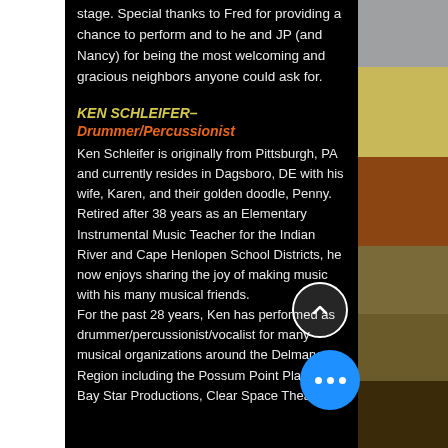stage. Special thanks to Fred for providing a chance to perform and to he and JP (and Nancy) for being the most welcoming and gracious neighbors anyone could ask for.
KEN SCHLEIFER– Drummer/Percussionist
Ken Schleifer is originally from Pittsburgh, PA and currently resides in Dagsboro, DE with his wife, Karen, and their golden doodle, Penny. Retired after 38 years as an Elementary Instrumental Music Teacher for the Indian River and Cape Henlopen School Districts, he now enjoys sharing the joy of making music with his many musical friends. For the past 28 years, Ken has performed as drummer/percussionist/vocalist for many musical organizations around the Delmarva Region including the Possum Point Players, Bay Star Productions, Clear Space Theatre